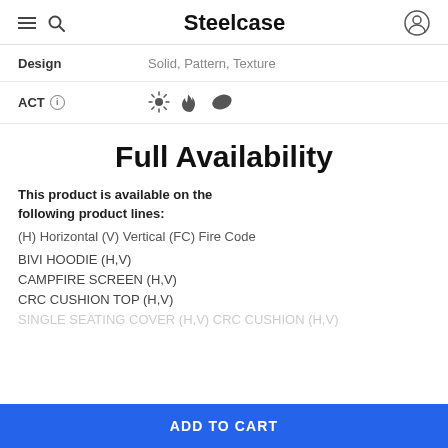Steelcase
Design   Solid, Pattern, Texture
ACT   (icons: sunburst, flame, leaf)
Full Availability
This product is available on the following product lines:
(H) Horizontal (V) Vertical (FC) Fire Code
BIVI HOODIE (H,V)
CAMPFIRE SCREEN (H,V)
CRC CUSHION TOP (H,V)
ADD TO CART